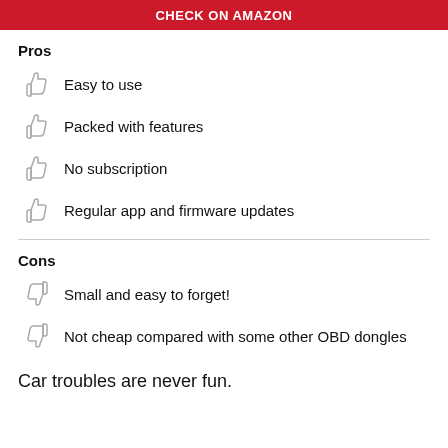[Figure (other): Red banner with white text: CHECK ON AMAZON]
Pros
Easy to use
Packed with features
No subscription
Regular app and firmware updates
Cons
Small and easy to forget!
Not cheap compared with some other OBD dongles
Car troubles are never fun.